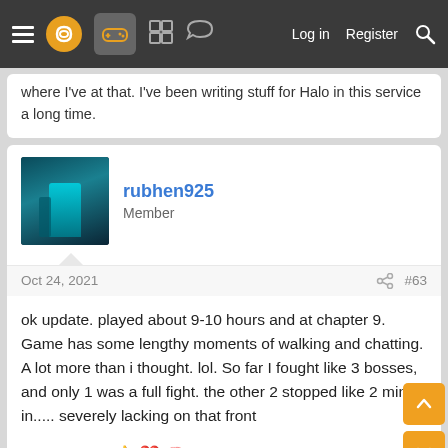Navigation bar with hamburger, logo, gamepad icon, grid icon, chat icon, Log in, Register, Search
...where I've at that. I've been writing stuff for Halo in this service a long time.
rubhen925
Member
Oct 24, 2021  #63
ok update. played about 9-10 hours and at chapter 9. Game has some lengthy moments of walking and chatting. A lot more than i thought. lol. So far I fought like 3 bosses, and only 1 was a full fight. the other 2 stopped like 2 mins in..... severely lacking on that front
👍 ❤️ 🧠 Umbasaborne, faisalasif and DGrayson
faisalasif